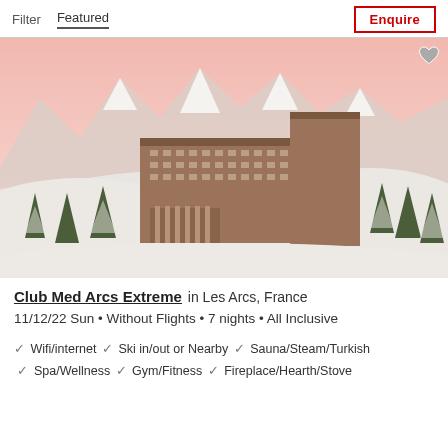Filter   Featured                                              Enquire
[Figure (photo): Aerial view of Club Med Arcs Extreme hotel, a large multi-storey brown building set in a snow-covered alpine landscape with mountain peaks and pink sky in the background, surrounded by snow-covered pine trees.]
Club Med Arcs Extreme  in Les Arcs, France
11/12/22 Sun • Without Flights • 7 nights • All Inclusive
✓ Wifi/internet ✓ Ski in/out or Nearby ✓ Sauna/Steam/Turkish ✓ Spa/Wellness ✓ Gym/Fitness ✓ Fireplace/Hearth/Stove